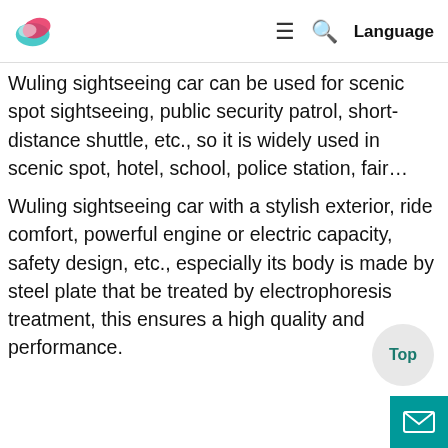Language
Wuling sightseeing car can be used for scenic spot sightseeing, public security patrol, short-distance shuttle, etc., so it is widely used in scenic spot, hotel, school, police station, fair…
Wuling sightseeing car with a stylish exterior, ride comfort, powerful engine or electric capacity, safety design, etc., especially its body is made by steel plate that be treated by electrophoresis treatment, this ensures a high quality and performance.